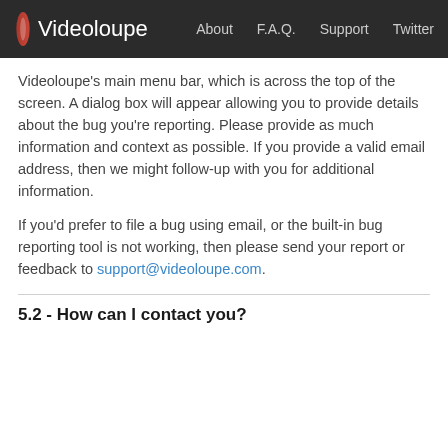Videoloupe | About | F.A.Q. | Support | Twitter
Videoloupe's main menu bar, which is across the top of the screen. A dialog box will appear allowing you to provide details about the bug you're reporting. Please provide as much information and context as possible. If you provide a valid email address, then we might follow-up with you for additional information.
If you'd prefer to file a bug using email, or the built-in bug reporting tool is not working, then please send your report or feedback to support@videoloupe.com.
5.2 - How can I contact you?